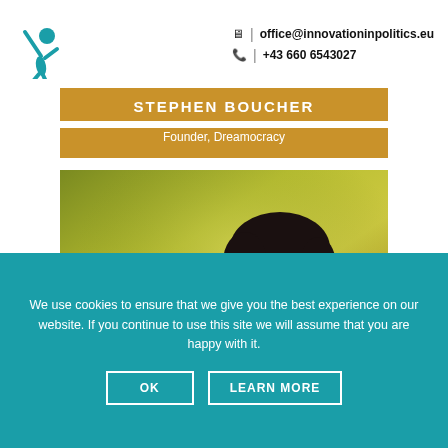office@innovationinpolitics.eu | +43 660 6543027
STEPHEN BOUCHER
Founder, Dreamocracy
[Figure (photo): Photo of Stephen Boucher, a young man with dark hair and glasses, against a yellow-green gradient background]
We use cookies to ensure that we give you the best experience on our website. If you continue to use this site we will assume that you are happy with it.